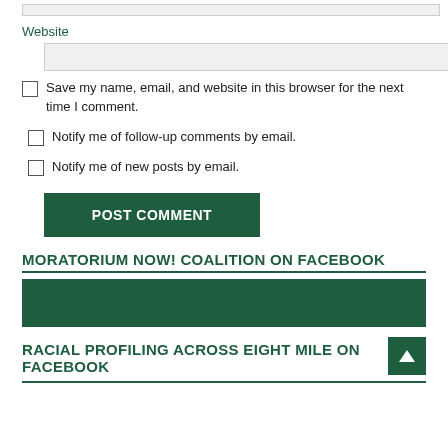Website
Save my name, email, and website in this browser for the next time I comment.
Notify me of follow-up comments by email.
Notify me of new posts by email.
POST COMMENT
MORATORIUM NOW! COALITION ON FACEBOOK
[Figure (other): Dark green Facebook banner/widget area]
RACIAL PROFILING ACROSS EIGHT MILE ON FACEBOOK